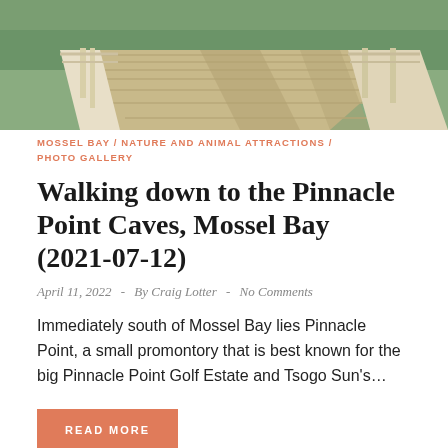[Figure (photo): Wooden boardwalk with railings leading through greenery, viewed from above at an angle, with shadows cast across the boards]
MOSSEL BAY / NATURE AND ANIMAL ATTRACTIONS / PHOTO GALLERY
Walking down to the Pinnacle Point Caves, Mossel Bay (2021-07-12)
April 11, 2022  -  By Craig Lotter  -  No Comments
Immediately south of Mossel Bay lies Pinnacle Point, a small promontory that is best known for the big Pinnacle Point Golf Estate and Tsogo Sun's…
READ MORE